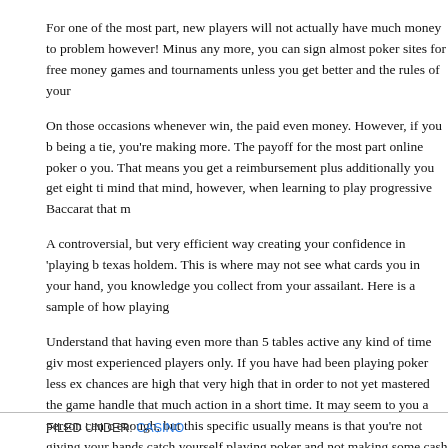For one of the most part, new players will not actually have much money to problem however! Minus any more, you can sign almost poker sites for free money games and tournaments unless you get better and the rules of your
On those occasions whenever win, the paid even money. However, if you b being a tie, you're making more. The payoff for the most part online poker o you. That means you get a reimbursement plus additionally you get eight ti mind that mind, however, when learning to play progressive Baccarat that m
A controversial, but very efficient way creating your confidence in 'playing b texas holdem. This is where may not see what cards you in your hand, you knowledge you collect from your assailant. Here is a sample of how playing
Understand that having even more than 5 tables active any kind of time giv most experienced players only. If you have had been playing poker less ex chances are high that very high that in order to not yet mastered the game handle that much action in a short time. It may seem to you a person can c enough, but this specific usually means is that you're not giving your hands catch yourself playing poker and not making some cash for some period of of tables played and paying more appreciation of what planning on their wa first move.
FILED UNDER: CASINO